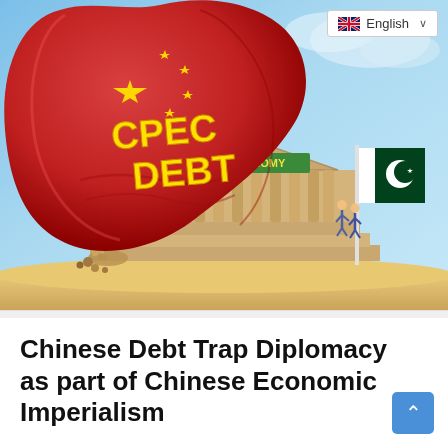[Figure (illustration): Political cartoon showing a giant red boulder (shaped like a fist with Chinese flag stars) labeled 'CPEC DEBT' in bold yellow text, crushing a classical Greek/Roman style building labeled 'PAKISTAN ECONOMY'. A Pakistani flag flies on a flagpole to the right. The scene is set against a blue sky with sandy ground.]
Chinese Debt Trap Diplomacy as part of Chinese Economic Imperialism